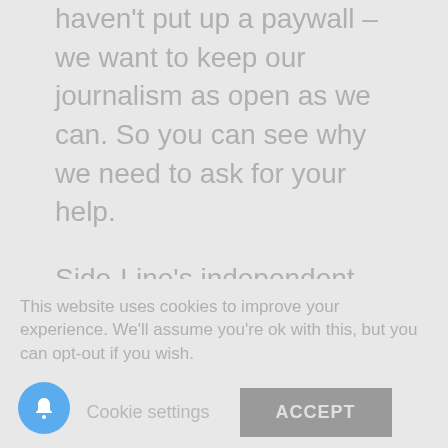haven't put up a paywall – we want to keep our journalism as open as we can. So you can see why we need to ask for your help.
Side-Line's independent journalism takes a lot of time, money and hard work to produce. But we do it because we want to push the artists we like and who are equally fighting to survive.
[Figure (other): A loading spinner / donut spinner graphic with a red arc segment on a light gray circle, indicating a page loading state.]
If everyone who reads our reporting, who likes it, helps fund it, our future would be much more secure. For as little as 5 US$, you can support Side-Line Magazine – and it only takes a minute. Thank
This website uses cookies to improve your experience. We'll assume you're ok with this, but you can opt-out if you wish.
Cookie settings   ACCEPT